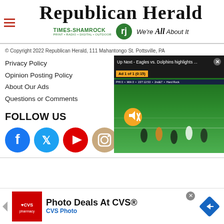[Figure (logo): Republican Herald newspaper masthead with Times-Shamrock logo and 'We're All About It' tagline]
© Copyright 2022 Republican Herald, 111 Mahantongo St. Pottsville, PA
Privacy Policy
Opinion Posting Policy
About Our Ads
Questions or Comments
FOLLOW US
[Figure (illustration): Social media icons: Facebook, Twitter, YouTube, Instagram]
[Figure (screenshot): Video player overlay: Up Next - Eagles vs. Dolphins highlights ... with Ad 1 of 1 (0:15) label, mute button, football game footage on green field]
[Figure (illustration): CVS Pharmacy advertisement: Photo Deals At CVS® - CVS Photo]